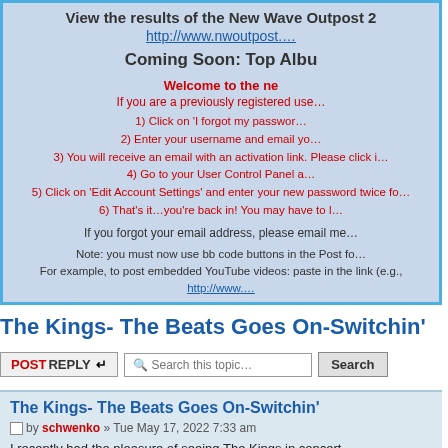View the results of the New Wave Outpost 2...
http://www.nwoutpost....
Coming Soon: Top Albu...
Welcome to the ne...
If you are a previously registered use...
1) Click on 'I forgot my passwor...
2) Enter your username and email yo...
3) You will receive an email with an activation link. Please click i...
4) Go to your User Control Panel a...
5) Click on 'Edit Account Settings' and enter your new password twice fo...
6) That's it...you're back in! You may have to l...
If you forgot your email address, please email me...
Note: you must now use bb code buttons in the Post fo... For example, to post embedded YouTube videos: paste in the link (e.g., http://www.... button.
The Kings- The Beats Goes On-Switchin'
POSTREPLY  Search this topic... Search
The Kings- The Beats Goes On-Switchin'
by schwenko » Tue May 17, 2022 7:33 am
I recently had the pleasure of seeing The Kings in concert (Mississaugua...